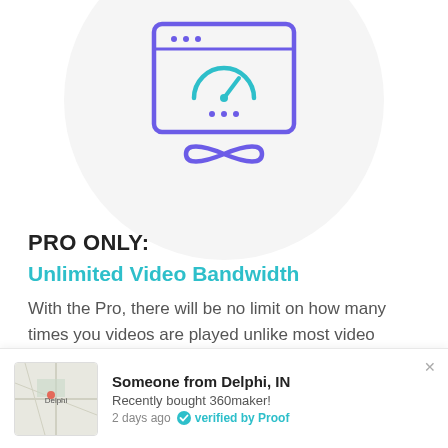[Figure (illustration): App icon illustration inside a light gray circle: a browser window frame in purple with three dots at top, containing a teal/green speedometer or gauge icon, and a purple infinity symbol below it]
PRO ONLY:
Unlimited Video Bandwidth
With the Pro, there will be no limit on how many times you videos are played unlike most video player apps that cap you at a certain limit. Let your viewers play your video embeds as many time as they like.
[Figure (screenshot): Notification bar at bottom: map thumbnail of Delphi IN area, text 'Someone from Delphi, IN', 'Recently bought 360maker!', '2 days ago  verified by Proof']